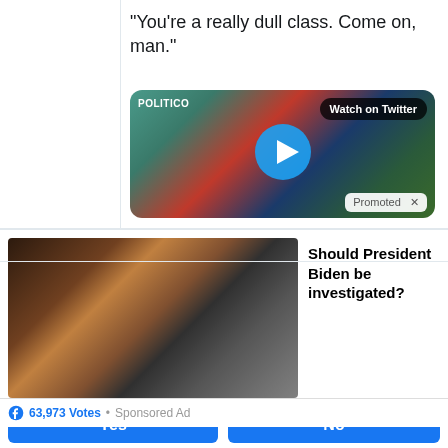"You're a really dull class. Come on, man."
[Figure (screenshot): POLITICO video thumbnail with Watch on Twitter button and play button overlay. Shows a person at a podium with American flags. Bottom right shows 'Promoted X' label.]
[Figure (photo): Close-up photo of President Biden with a crowd in the background including a young man in a suit.]
Should President Biden be investigated?
Yes
No
Not sure
63,973 Votes  •  Sponsored Ad